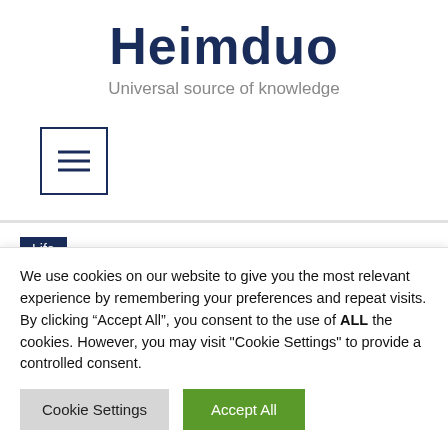Heimduo
Universal source of knowledge
[Figure (illustration): Hamburger menu icon button — three horizontal lines inside a square border]
Life
Where did Ed Bradley go
We use cookies on our website to give you the most relevant experience by remembering your preferences and repeat visits. By clicking “Accept All”, you consent to the use of ALL the cookies. However, you may visit "Cookie Settings" to provide a controlled consent.
Cookie Settings
Accept All